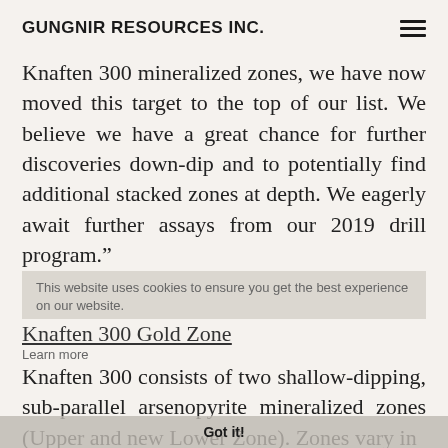GUNGNIR RESOURCES INC.
Knaften 300 mineralized zones, we have now moved this target to the top of our list. We believe we have a great chance for further discoveries down-dip and to potentially find additional stacked zones at depth. We eagerly await further assays from our 2019 drill program.”
This website uses cookies to ensure you get the best experience on our website.
Knaften 300 Gold Zone
Learn more
Knaften 300 consists of two shallow-dipping, sub-parallel arsenopyrite mineralized zones (Upper and new Lower Zone). Zones vary in
Got it!